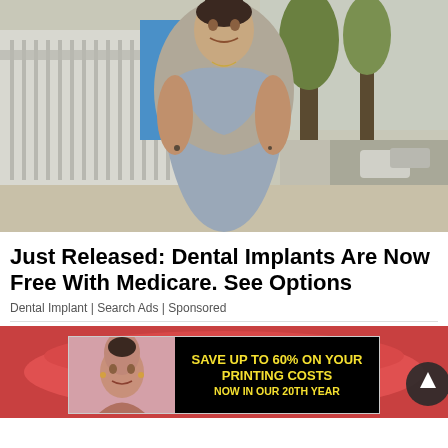[Figure (photo): Woman with dark hair in an updo, wearing a light blue/grey short-sleeve fitted dress, smiling on a city sidewalk with trees and buildings in the background]
Just Released: Dental Implants Are Now Free With Medicare. See Options
Dental Implant | Search Ads | Sponsored
[Figure (photo): Advertisement banner: background shows a close-up of a mouth/dental area in red tones. Overlaid white banner with a woman's photo on the left and black background on the right with yellow text reading: SAVE UP TO 60% ON YOUR PRINTING COSTS NOW IN OUR 20th YEAR]